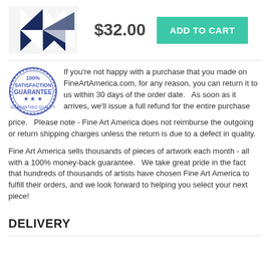[Figure (photo): Product thumbnail showing a geometric pattern with navy blue and white pinwheel/star design on fabric or print]
$32.00
ADD TO CART
[Figure (illustration): 100% Satisfaction Guarantee circular stamp/badge in blue ink]
If you're not happy with a purchase that you made on FineArtAmerica.com, for any reason, you can return it to us within 30 days of the order date.   As soon as it arrives, we'll issue a full refund for the entire purchase price.   Please note - Fine Art America does not reimburse the outgoing or return shipping charges unless the return is due to a defect in quality.
Fine Art America sells thousands of pieces of artwork each month - all with a 100% money-back guarantee.   We take great pride in the fact that hundreds of thousands of artists have chosen Fine Art America to fulfill their orders, and we look forward to helping you select your next piece!
DELIVERY